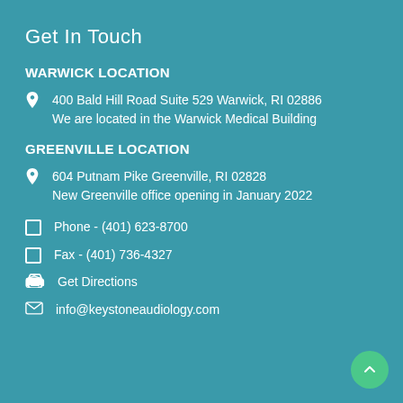Get In Touch
WARWICK LOCATION
400 Bald Hill Road Suite 529 Warwick, RI 02886 We are located in the Warwick Medical Building
GREENVILLE LOCATION
604 Putnam Pike Greenville, RI 02828 New Greenville office opening in January 2022
Phone - (401) 623-8700
Fax - (401) 736-4327
Get Directions
info@keystoneaudiology.com